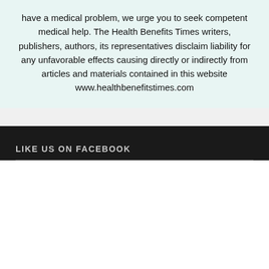have a medical problem, we urge you to seek competent medical help. The Health Benefits Times writers, publishers, authors, its representatives disclaim liability for any unfavorable effects causing directly or indirectly from articles and materials contained in this website www.healthbenefitstimes.com
LIKE US ON FACEBOOK